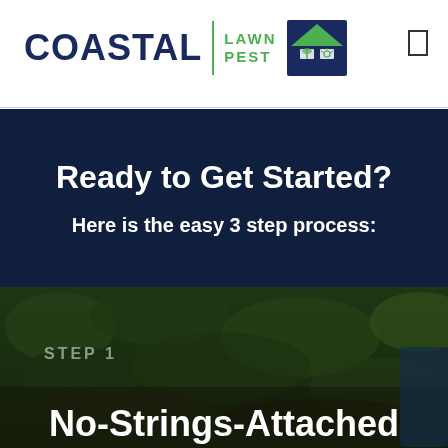[Figure (logo): Coastal Lawn Pest logo with house icon]
Ready to Get Started?
Here is the easy 3 step process:
[Figure (photo): Garden/lawn background photo with STEP 1 label overlay]
No-Strings-Attached